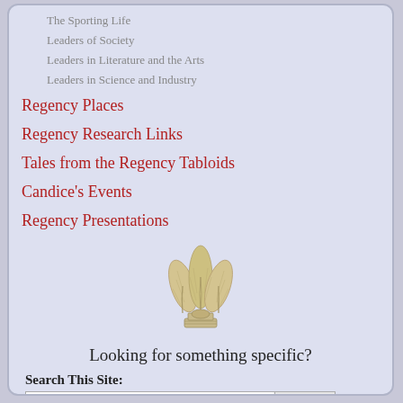The Sporting Life
Leaders of Society
Leaders in Literature and the Arts
Leaders in Science and Industry
Regency Places
Regency Research Links
Tales from the Regency Tabloids
Candice's Events
Regency Presentations
[Figure (illustration): Prince of Wales feathers emblem in beige/tan color]
Looking for something specific?
Search This Site: